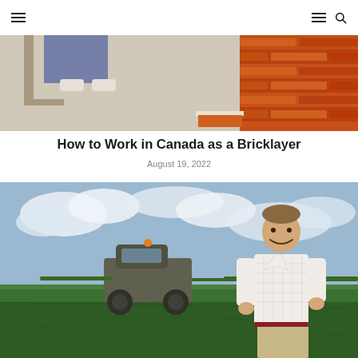Navigation header with hamburger menu icons and search
[Figure (photo): Close-up photo of bricklaying work showing person lying near bricks being laid, with red/orange bricks and mortar visible]
How to Work in Canada as a Bricklayer
August 19, 2022
[Figure (photo): Photo of a smiling man in a white checkered shirt standing in a green wheat field with a large green agricultural sprayer machine behind him under a cloudy sky]